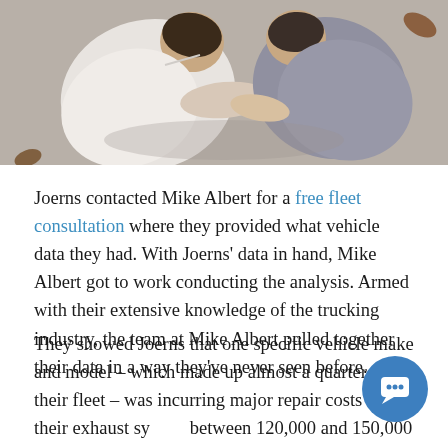[Figure (photo): Overhead view of two people, one in a white shirt and one in a grey shirt, appearing to shake hands or interact, viewed from directly above on a grey floor.]
Joerns contacted Mike Albert for a free fleet consultation where they provided what vehicle data they had. With Joerns' data in hand, Mike Albert got to work conducting the analysis. Armed with their extensive knowledge of the trucking industry, the team at Mike Albert pulled together their data in a way they've never seen before.
They showed Joerns that one specific vehicle make and model – which made up almost a quarter of their fleet – was incurring major repair costs in their exhaust sy between 120,000 and 150,000 miles. Sometimes, same vehicle would have the same issue more than once.